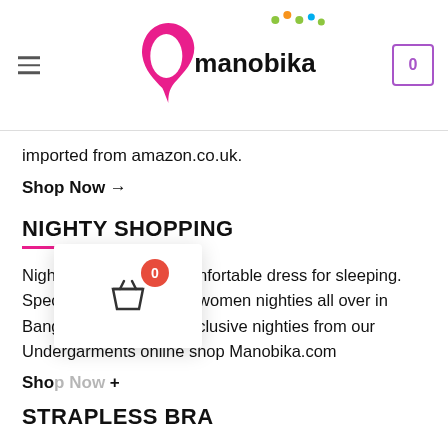manobika
imported from amazon.co.uk.
Shop Now →
NIGHTY SHOPPING
Night dress is a very comfortable dress for sleeping. Specially we are selling women nighties all over in Bangladesh. Buy our exclusive nighties from our Undergarments online shop Manobika.com
Sho →
[Figure (screenshot): Shopping cart popup with basket icon and red badge showing 0]
STRAPLESS BRA